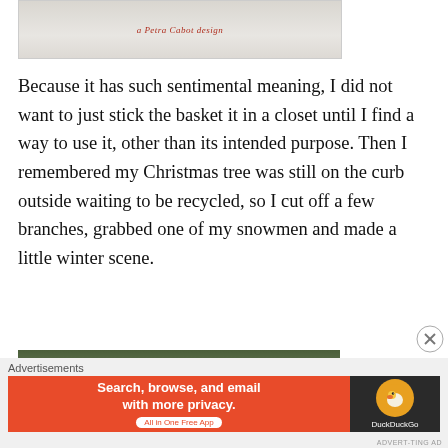[Figure (photo): Partial photo showing a light-colored background with red script text reading 'Petra Cabot design']
Because it has such sentimental meaning, I did not want to just stick the basket it in a closet until I find a way to use it, other than its intended purpose. Then I remembered my Christmas tree was still on the curb outside waiting to be recycled, so I cut off a few branches, grabbed one of my snowmen and made a little winter scene.
[Figure (photo): Bottom portion of a photo showing green pine branches/Christmas tree branches in an indoor setting]
Advertisements
[Figure (screenshot): DuckDuckGo advertisement banner: orange left section reading 'Search, browse, and email with more privacy. All in One Free App' with dark right section showing DuckDuckGo duck logo]